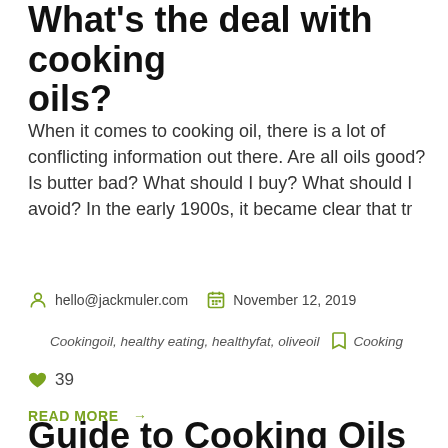What's the deal with cooking oils?
When it comes to cooking oil, there is a lot of conflicting information out there. Are all oils good? Is butter bad? What should I buy? What should I avoid? In the early 1900s, it became clear that tr
hello@jackmuler.com   November 12, 2019
Cookingoil, healthy eating, healthyfat, oliveoil   Cooking
39
READ MORE →
Guide to Cooking Oils